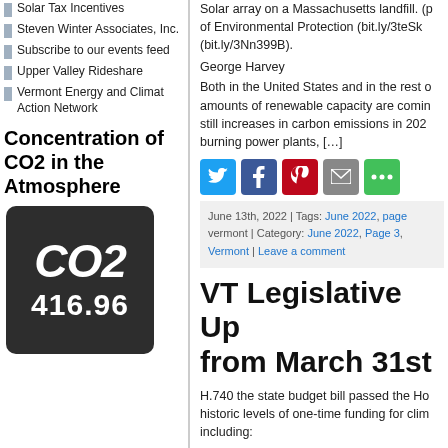Solar Tax Incentives
Steven Winter Associates, Inc.
Subscribe to our events feed
Upper Valley Rideshare
Vermont Energy and Climat Action Network
Concentration of CO2 in the Atmosphere
[Figure (infographic): CO2 concentration widget showing value 416.96 on dark background]
Solar array on a Massachusetts landfill. (p of Environmental Protection (bit.ly/3teSk (bit.ly/3Nn399B).
George Harvey
Both in the United States and in the rest of amounts of renewable capacity are coming still increases in carbon emissions in 202 burning power plants, […]
June 13th, 2022 | Tags: June 2022, page vermont | Category: June 2022, Page 3, Vermont | Leave a comment
VT Legislative Update from March 31st
H.740 the state budget bill passed the Ho historic levels of one-time funding for clim including:
$45m for the low-income weatherization p weatherization for Vermonters with mode